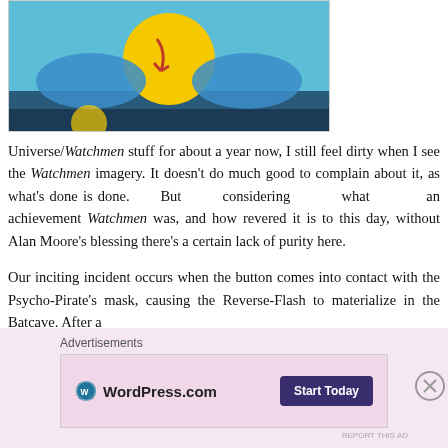[Figure (photo): Partial photo showing a yellow button/smiley face with a crack/arrow mark, held by blue-gloved hands, against a blue background — Watchmen imagery.]
Universe/Watchmen stuff for about a year now, I still feel dirty when I see the Watchmen imagery. It doesn't do much good to complain about it, as what's done is done. But considering what an achievement Watchmen was, and how revered it is to this day, without Alan Moore's blessing there's a certain lack of purity here.
Our inciting incident occurs when the button comes into contact with the Psycho-Pirate's mask, causing the Reverse-Flash to materialize in the Batcave. After a
Advertisements
[Figure (screenshot): WordPress.com advertisement banner with 'Start Today' button on a pink/lavender background.]